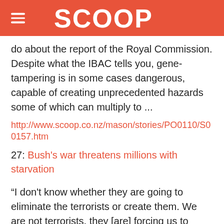SCOOP
do about the report of the Royal Commission. Despite what the IBAC tells you, gene-tampering is in some cases dangerous, capable of creating unprecedented hazards some of which can multiply to ...
http://www.scoop.co.nz/mason/stories/PO0110/S00157.htm
27: Bush's war threatens millions with starvation
“I don't know whether they are going to eliminate the terrorists or create them. We are not terrorists, they [are] forcing us to become terrorists”, said Kabul resident Mohammed Nabi, referring to Washington's nightly bombing of his country. “After one ...
http://www.scoop.co.nz/mason/stories/HL0110/S00142.htm
28: Scoop Archive: Greens Support Ban On Water!
"The Green Party's support for a ban on water in New